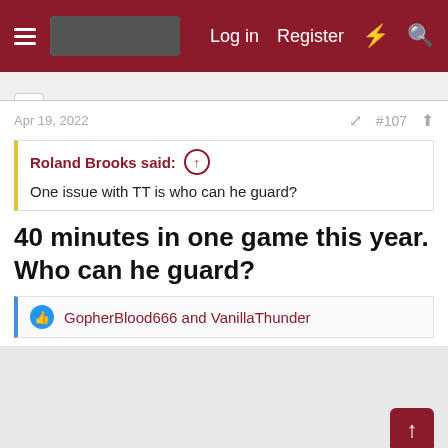Log in  Register
Apr 19, 2022  #107
Roland Brooks said: ↑
One issue with TT is who can he guard?
40 minutes in one game this year. Who can he guard?
GopherBlood666 and VanillaThunder